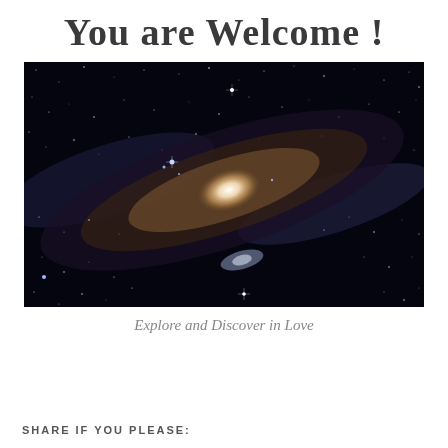You are Welcome !
[Figure (photo): Photograph of the Andromeda galaxy against a black starfield, showing the spiral galaxy's bright central core and dust lanes, with a smaller companion galaxy visible in the lower center.]
Explore and Discover in Love
SHARE IF YOU PLEASE: